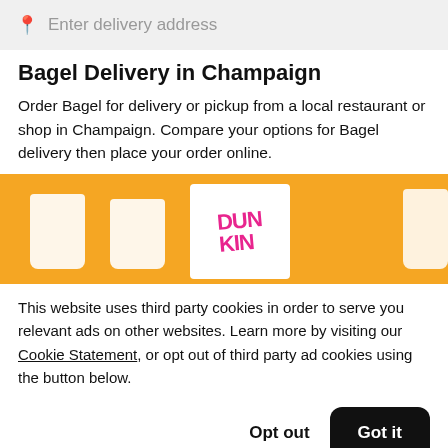Enter delivery address
Bagel Delivery in Champaign
Order Bagel for delivery or pickup from a local restaurant or shop in Champaign. Compare your options for Bagel delivery then place your order online.
[Figure (photo): Orange background banner showing Dunkin Donuts bags and white cups]
This website uses third party cookies in order to serve you relevant ads on other websites. Learn more by visiting our Cookie Statement, or opt out of third party ad cookies using the button below.
Opt out  Got it